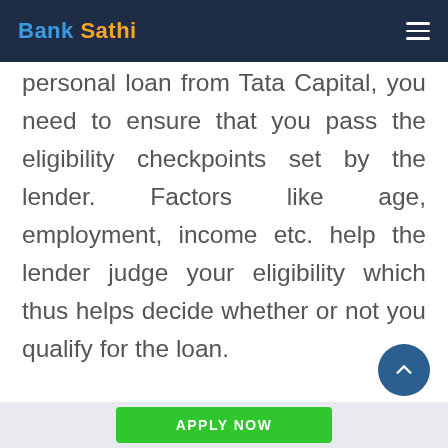Bank Sathi
personal loan from Tata Capital, you need to ensure that you pass the eligibility checkpoints set by the lender. Factors like age, employment, income etc. help the lender judge your eligibility which thus helps decide whether or not you qualify for the loan.